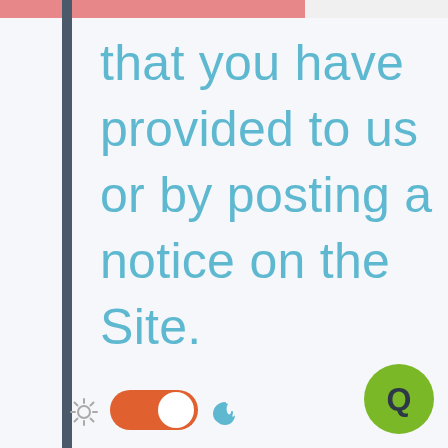that you have provided to us or by posting a notice on the Site. Depending on where you live, you may have a legal right to receive such notices in